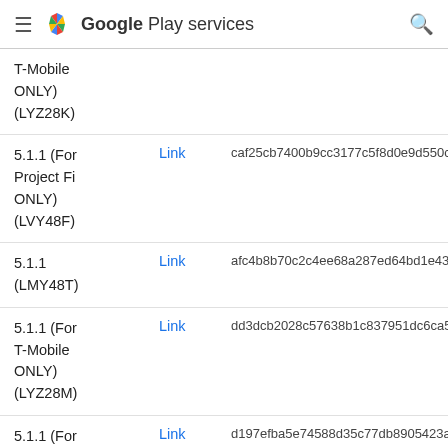Google Play services
| Version | Link | Hash |
| --- | --- | --- |
| T-Mobile ONLY) (LYZ28K) |  |  |
| 5.1.1 (For Project Fi ONLY) (LVY48F) | Link | caf25cb7400b9cc3177c5f8d0e9d550c |
| 5.1.1 (LMY48T) | Link | afc4b8b70c2c4ee68a287ed64bd1e435 |
| 5.1.1 (For T-Mobile ONLY) (LYZ28M) | Link | dd3dcb2028c57638b1c837951dc6ca5 |
| 5.1.1 (For Project Fi ONLY) (LVY48H) | Link | d197efba5e74588d35c77db8905423a |